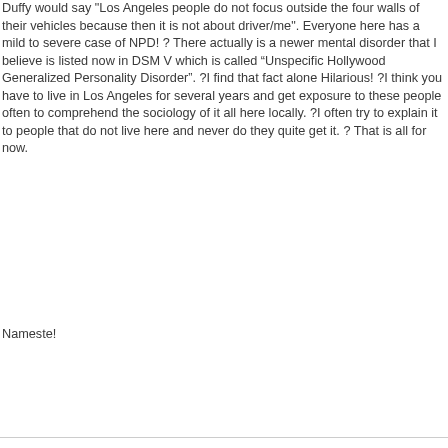Duffy would say "Los Angeles people do not focus outside the four walls of their vehicles because then it is not about driver/me". Everyone here has a mild to severe case of NPD! ? There actually is a newer mental disorder that I believe is listed now in DSM V which is called “Unspecific Hollywood Generalized Personality Disorder”. ?I find that fact alone Hilarious! ?I think you have to live in Los Angeles for several years and get exposure to these people often to comprehend the sociology of it all here locally. ?I often try to explain it to people that do not live here and never do they quite get it. ? That is all for now.
Nameste!